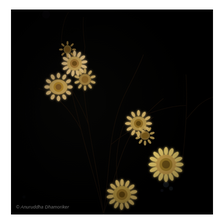[Figure (photo): Black and white / dark moody photograph of dried wildflowers or daisy-like seed heads on thin stems against a nearly black background. The flowers are illuminated with a golden-tan hue showing spiky, textured petals. Multiple flower heads are visible at various heights — a cluster on the left, two in the middle area, one on the right edge, and two lower ones. Thin dark stems arc across the frame. Watermark reads: © Anuruddha Dhamoriker]
© Anuruddha Dhamoriker